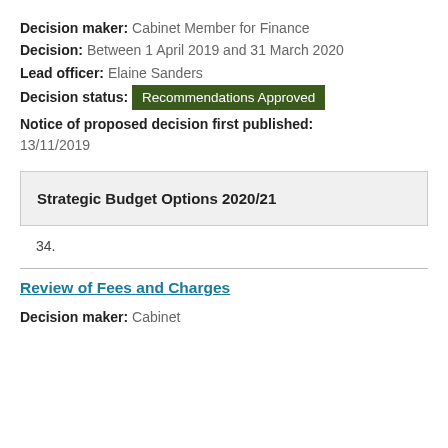Decision maker: Cabinet Member for Finance
Decision: Between 1 April 2019 and 31 March 2020
Lead officer: Elaine Sanders
Decision status: Recommendations Approved
Notice of proposed decision first published: 13/11/2019
Strategic Budget Options 2020/21
34.
Review of Fees and Charges
Decision maker: Cabinet